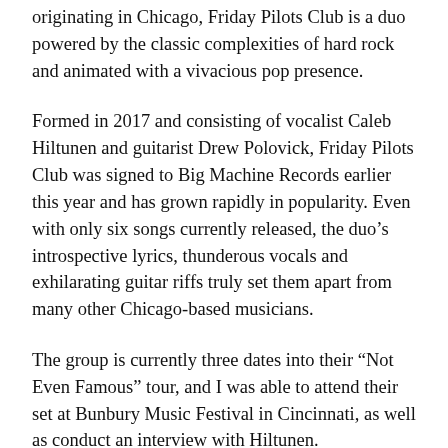originating in Chicago, Friday Pilots Club is a duo powered by the classic complexities of hard rock and animated with a vivacious pop presence.
Formed in 2017 and consisting of vocalist Caleb Hiltunen and guitarist Drew Polovick, Friday Pilots Club was signed to Big Machine Records earlier this year and has grown rapidly in popularity. Even with only six songs currently released, the duo’s introspective lyrics, thunderous vocals and exhilarating guitar riffs truly set them apart from many other Chicago-based musicians.
The group is currently three dates into their “Not Even Famous” tour, and I was able to attend their set at Bunbury Music Festival in Cincinnati, as well as conduct an interview with Hiltunen.